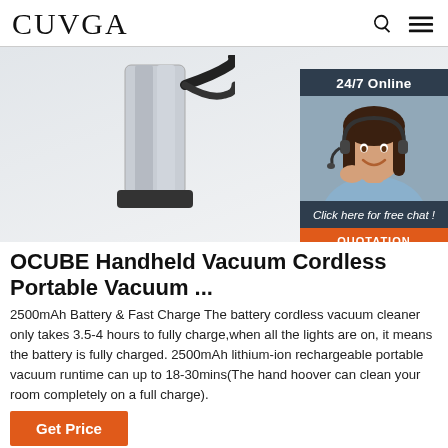CUVGA
[Figure (photo): Product photo of a handheld vacuum cleaner device (OCUBE), with a 24/7 online chat widget overlay showing a female customer service agent with headset, 'Click here for free chat!' message, and an orange QUOTATION button.]
OCUBE Handheld Vacuum Cordless Portable Vacuum ...
2500mAh Battery & Fast Charge The battery cordless vacuum cleaner only takes 3.5-4 hours to fully charge,when all the lights are on, it means the battery is fully charged. 2500mAh lithium-ion rechargeable portable vacuum runtime can up to 18-30mins(The hand hoover can clean your room completely on a full charge).
Get Price